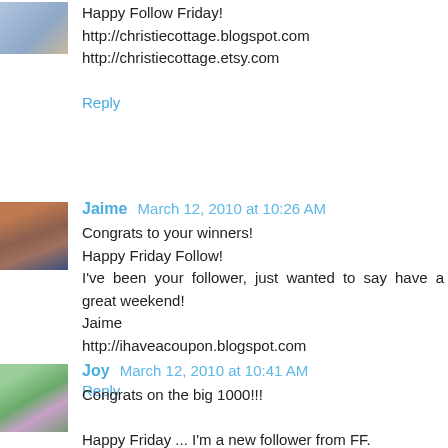Happy Follow Friday!
http://christiecottage.blogspot.com
http://christiecottage.etsy.com
Reply
Jaime  March 12, 2010 at 10:26 AM
Congrats to your winners!
Happy Friday Follow!
I've been your follower, just wanted to say have a great weekend!
Jaime
http://ihaveacoupon.blogspot.com
Reply
Joy  March 12, 2010 at 10:41 AM
Congrats on the big 1000!!!

Happy Friday ... I'm a new follower from FF.